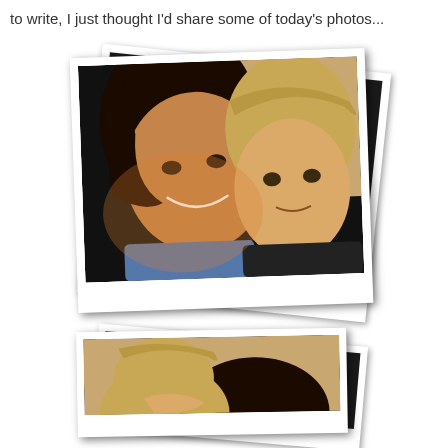to write, I just thought I'd share some of today's photos...
[Figure (photo): Stacked polaroid photos showing a smiling dark-haired woman with a young toddler/child with light brown hair, selfie-style photo against dark background]
[Figure (photo): Stacked polaroid photos (partially visible) showing the top of the woman's dark hair and child's light hair, partially cropped at bottom of page]